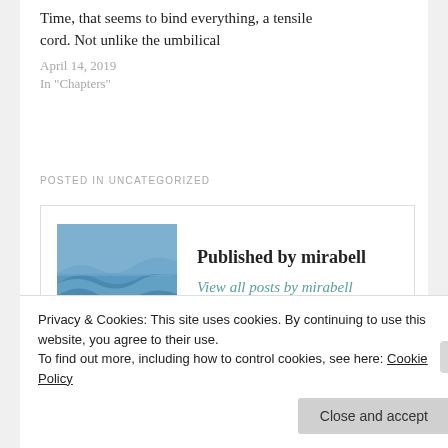Time, that seems to bind everything, a tensile cord. Not unlike the umbilical
April 14, 2019
In "Chapters"
POSTED IN UNCATEGORIZED
Published by mirabell
View all posts by mirabell
Privacy & Cookies: This site uses cookies. By continuing to use this website, you agree to their use.
To find out more, including how to control cookies, see here: Cookie Policy
Close and accept